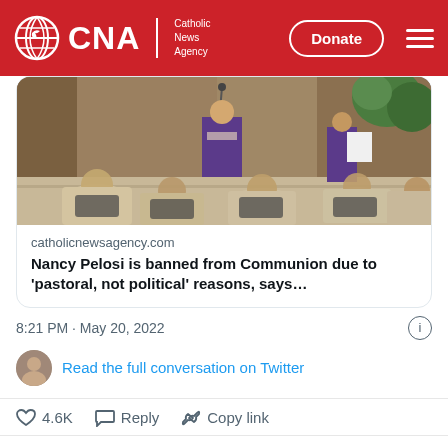CNA | Catholic News Agency — Donate
[Figure (screenshot): Twitter/X embedded link card showing a church mass scene with clergy in purple vestments at a pulpit, with congregation seated in front. Link card shows catholicnewsagency.com article: Nancy Pelosi is banned from Communion due to 'pastoral, not political' reasons, says...]
catholicnewsagency.com
Nancy Pelosi is banned from Communion due to 'pastoral, not political' reasons, says...
8:21 PM · May 20, 2022
Read the full conversation on Twitter
4.6K  Reply  Copy link
Read 473 replies